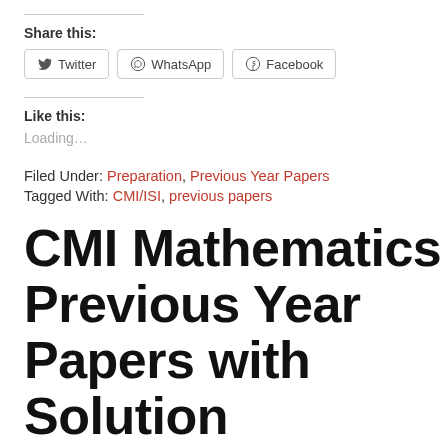Share this:
[Figure (other): Social share buttons: Twitter, WhatsApp, Facebook]
Like this:
Loading...
Filed Under: Preparation, Previous Year Papers
Tagged With: CMI/ISI, previous papers
CMI Mathematics Previous Year Papers with Solution